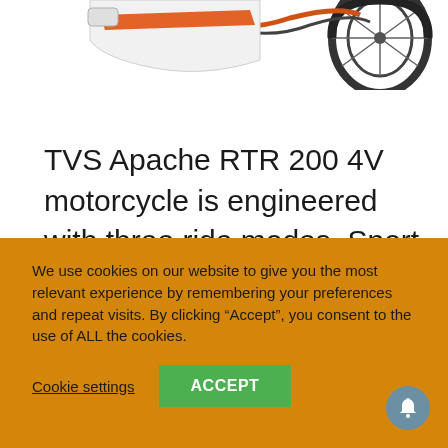[Figure (photo): Partial view of a TVS Apache RTR 200 4V motorcycle — front wheel and body visible from top, cropped at the top of the page]
TVS Apache RTR 200 4V motorcycle is engineered with three ride modes, Sport, Urban, and Rain. Riders can shift between ride modes on the go, using the ride mode switch on the handlebar.
[Figure (photo): Partial view of a motorcycle mirror/handlebar area, appearing in the lower right of the white content area]
We use cookies on our website to give you the most relevant experience by remembering your preferences and repeat visits. By clicking “Accept”, you consent to the use of ALL the cookies.
Cookie settings
ACCEPT